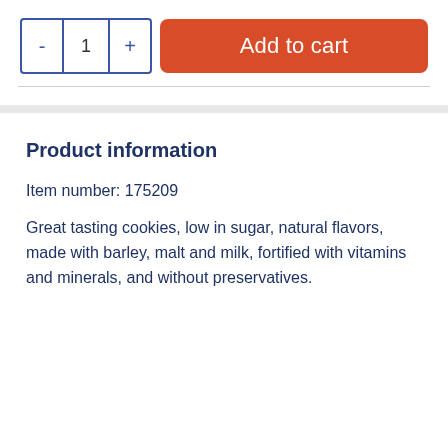[Figure (screenshot): Add to cart UI with quantity selector (- 1 +) and orange 'Add to cart' button]
Product information
Item number: 175209
Great tasting cookies, low in sugar, natural flavors, made with barley, malt and milk, fortified with vitamins and minerals, and without preservatives.